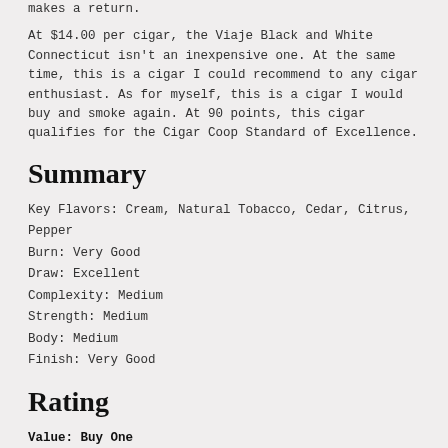makes a return.
At $14.00 per cigar, the Viaje Black and White Connecticut isn't an inexpensive one. At the same time, this is a cigar I could recommend to any cigar enthusiast. As for myself, this is a cigar I would buy and smoke again. At 90 points, this cigar qualifies for the Cigar Coop Standard of Excellence.
Summary
Key Flavors: Cream, Natural Tobacco, Cedar, Citrus, Pepper
Burn: Very Good
Draw: Excellent
Complexity: Medium
Strength: Medium
Body: Medium
Finish: Very Good
Rating
Value: Buy One
Score: 90
Cigar Coop Standard of Excellence